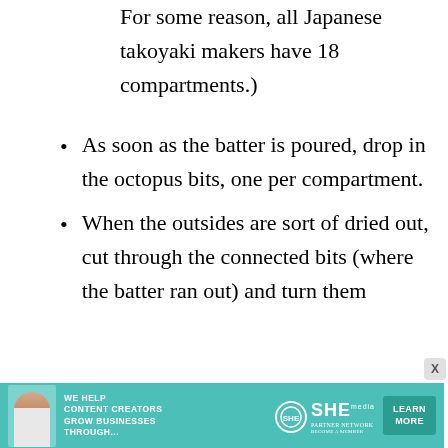For some reason, all Japanese takoyaki makers have 18 compartments.)
As soon as the batter is poured, drop in the octopus bits, one per compartment.
When the outsides are sort of dried out, cut through the connected bits (where the batter ran out) and turn them
[Figure (infographic): Advertisement banner for SHE Media Partner Network with teal background, woman with laptop, text 'We help content creators grow businesses through...', SHE logo, and 'Learn More' button]